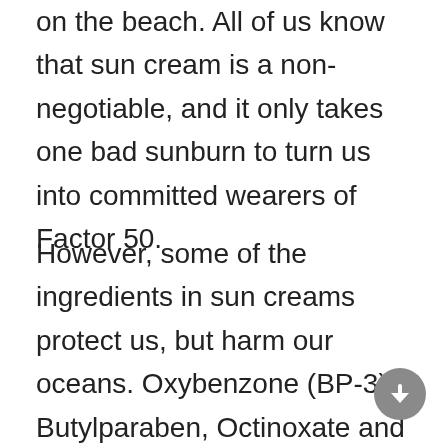on the beach. All of us know that sun cream is a non-negotiable, and it only takes one bad sunburn to turn us into committed wearers of Factor 50.
However, some of the ingredients in sun creams protect us, but harm our oceans. Oxybenzone (BP-3), Butylparaben, Octinoxate and 4-methylbenzylidene camphor can all do serious damage to coral reefs,